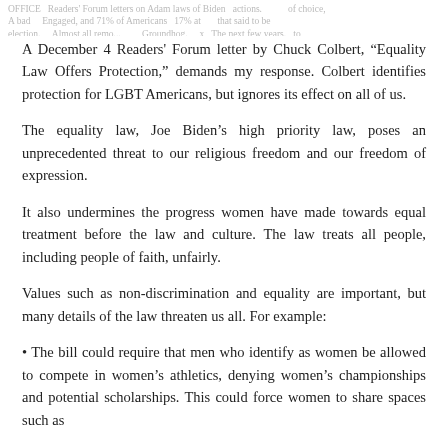OFFICE Readers' Forum letters on Adam laws of Biden actions. A bad election. Engaged, and 71% of Americans 17% at Groundhog. The next few years. of choice, that said to be
A December 4 Readers' Forum letter by Chuck Colbert, “Equality Law Offers Protection,” demands my response. Colbert identifies protection for LGBT Americans, but ignores its effect on all of us.
The equality law, Joe Biden’s high priority law, poses an unprecedented threat to our religious freedom and our freedom of expression.
It also undermines the progress women have made towards equal treatment before the law and culture. The law treats all people, including people of faith, unfairly.
Values such as non-discrimination and equality are important, but many details of the law threaten us all. For example:
• The bill could require that men who identify as women be allowed to compete in women’s athletics, denying women’s championships and potential scholarships. This could force women to share spaces such as